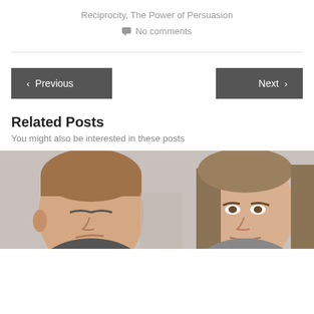Reciprocity, The Power of Persuasion
No comments
Previous
Next
Related Posts
You might also be interested in these posts
[Figure (photo): Two people with tense facial expressions, a man on the left with closed eyes and a woman on the right looking upset, suggesting conflict or disagreement.]